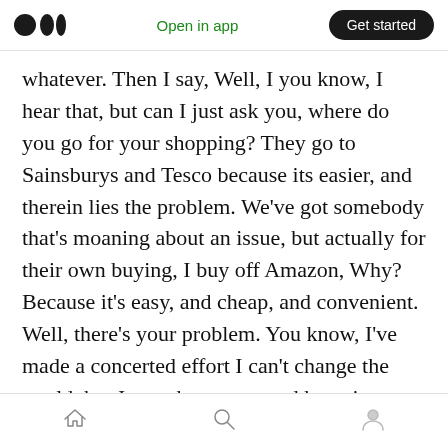Medium logo | Open in app | Get started
whatever. Then I say, Well, I you know, I hear that, but can I just ask you, where do you go for your shopping? They go to Sainsburys and Tesco because its easier, and therein lies the problem. We've got somebody that's moaning about an issue, but actually for their own buying, I buy off Amazon, Why? Because it's easy, and cheap, and convenient. Well, there's your problem. You know, I've made a concerted effort I can't change the world, but I can change me and hope it ripples out. If I'm looking for something, I'll try always to find somebody independent, and
Home | Search | Profile